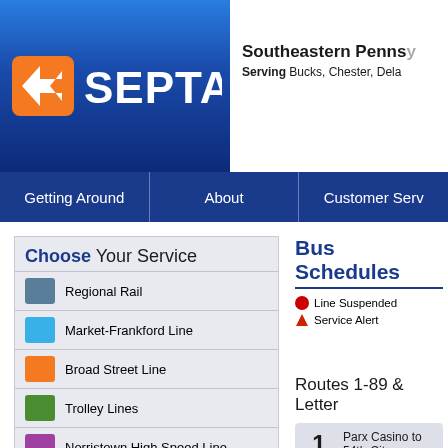[Figure (logo): SEPTA logo - blue rectangular background with orange arrow icon and white SEPTA text]
Southeastern Penns... Serving Bucks, Chester, Dela...
Getting Around | About | Customer Serv...
Choose Your Service
Regional Rail
Market-Frankford Line
Broad Street Line
Trolley Lines
Norristown High Speed Line
Buses
CCT Connect
Trip Planner
Bus Schedules
Line Suspended | Service Alert | De... | Se...
Routes 1-89 & Letter...
| Route | Name |
| --- | --- |
| 1 | Parx Casino to 54th-City |
| 2 | 20th-Johnston to Pulaski-F... |
To Parx Casino
To 54th-City